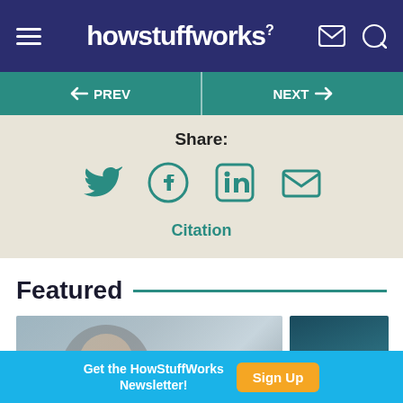howstuffworks
← PREV   NEXT →
Share:
[Figure (infographic): Social share icons: Twitter, Facebook, LinkedIn, Email]
Citation
Featured
[Figure (photo): Featured article card showing a woman looking up in a public space]
[Figure (photo): Featured article card with a teal/blue technological background]
Get the HowStuffWorks Newsletter!
Sign Up